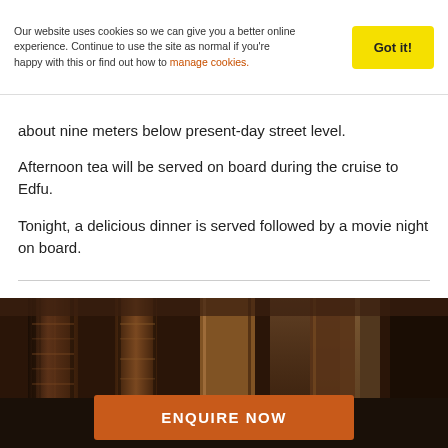Our website uses cookies so we can give you a better online experience. Continue to use the site as normal if you're happy with this or find out how to manage cookies.
about nine meters below present-day street level.
Afternoon tea will be served on board during the cruise to Edfu.
Tonight, a delicious dinner is served followed by a movie night on board.
[Figure (photo): Sepia-toned photograph of ancient Egyptian temple interior showing large carved stone columns with hieroglyphic reliefs, likely the Temple of Edfu, with dramatic lighting highlighting the stonework.]
ENQUIRE NOW